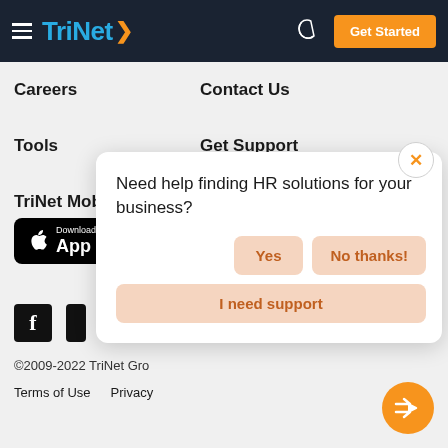TriNet — Get Started
Careers
Contact Us
Tools
Get Support
TriNet Mobile App
[Figure (screenshot): Download on the App Store button (black rounded rectangle with Apple logo)]
[Figure (screenshot): Facebook and Twitter social media icons]
©2009-2022 TriNet Gro
Terms of Use    Privacy
[Figure (screenshot): Popup dialog: Need help finding HR solutions for your business? with Yes, No thanks!, and I need support buttons]
[Figure (logo): TriNet orange circle with forward arrow navigation button]